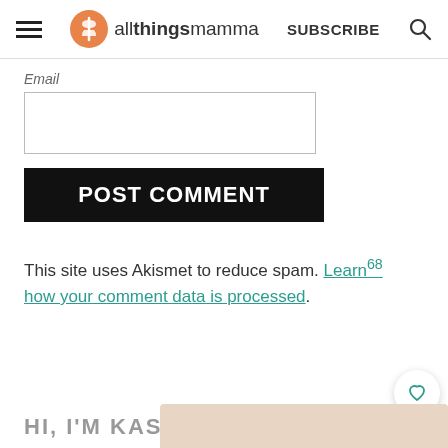allthingsmamma | SUBSCRIBE
Email
POST COMMENT
This site uses Akismet to reduce spam. Learn how your comment data is processed.
HI, I'M KASEY!